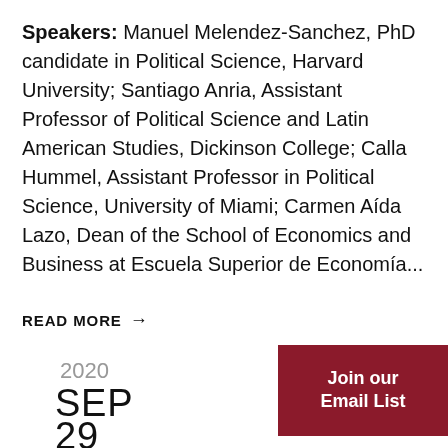Speakers: Manuel Melendez-Sanchez, PhD candidate in Political Science, Harvard University; Santiago Anria, Assistant Professor of Political Science and Latin American Studies, Dickinson College; Calla Hummel, Assistant Professor in Political Science, University of Miami; Carmen Aída Lazo, Dean of the School of Economics and Business at Escuela Superior de Economía...
READ MORE →
2020
SEP
29
Join our Email List